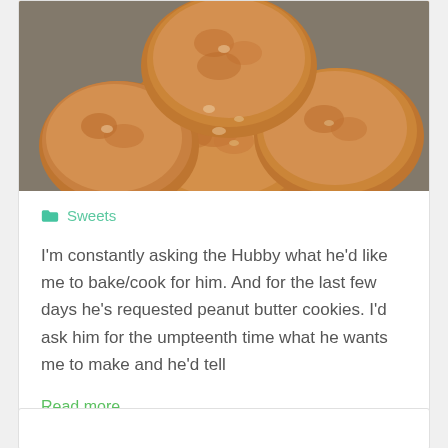[Figure (photo): Photo of peanut butter cookies stacked on a wooden surface]
Sweets
I'm constantly asking the Hubby what he'd like me to bake/cook for him. And for the last few days he's requested peanut butter cookies. I'd ask him for the umpteenth time what he wants me to make and he'd tell
Read more